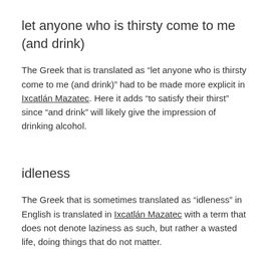let anyone who is thirsty come to me (and drink)
The Greek that is translated as “let anyone who is thirsty come to me (and drink)” had to be made more explicit in Ixcatlán Mazatec. Here it adds “to satisfy their thirst” since “and drink” will likely give the impression of drinking alcohol.
idleness
The Greek that is sometimes translated as “idleness” in English is translated in Ixcatlán Mazatec with a term that does not denote laziness as such, but rather a wasted life, doing things that do not matter.